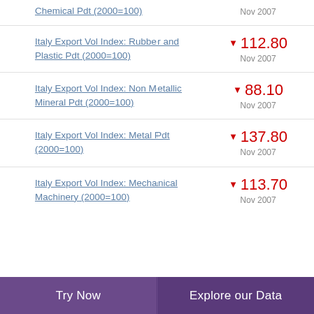Chemical Pdt (2000=100)
Italy Export Vol Index: Rubber and Plastic Pdt (2000=100)
Italy Export Vol Index: Non Metallic Mineral Pdt (2000=100)
Italy Export Vol Index: Metal Pdt (2000=100)
Italy Export Vol Index: Mechanical Machinery (2000=100)
Try Now | Explore our Data